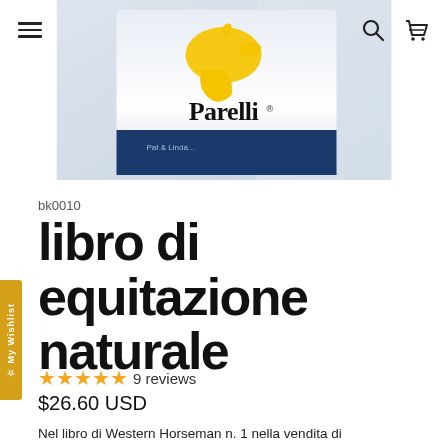[Figure (photo): Parelli Natural Horsemanship book product photo showing a card/book with golden horse logo and 'Parelli' text, set against a light background]
bk0010
libro di equitazione naturale
★★★★★ 9 reviews
$26.60 USD
Nel libro di Western Horseman n. 1 nella vendita di